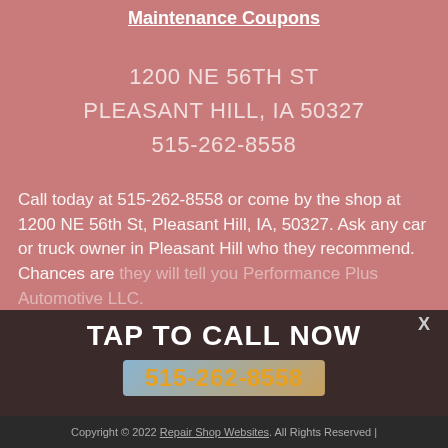Maintenance Coupons
1200 NE 56TH ST
PLEASANT HILL, IA 50327
515-262-8558
Call today at 515-262-8558 or come by the shop at 1200 NE 56th St, Pleasant Hill, IA, 50327. Ask any car or truck owner in Pleasant Hill who they recommend. Chances are they will tell you Performance Plus Automotive LLC.
TAP TO CALL NOW
515-262-8558
Copyright © 2022 Repair Shop Websites. All Rights Reserved |